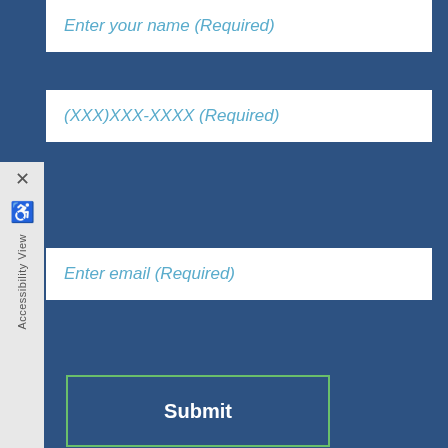[Figure (screenshot): Web form with input fields for name, phone, email, and a submit button on a blue background, with an accessibility sidebar on the left]
Location
Click on the marker to view address
[Figure (map): Interactive map showing location at 427 W. Cottage Grove Rd., Cottage Grove, WI, 53527, US with a blue map marker. Map shows Taylors Corners area with CTH BB road labels and zoom controls.]